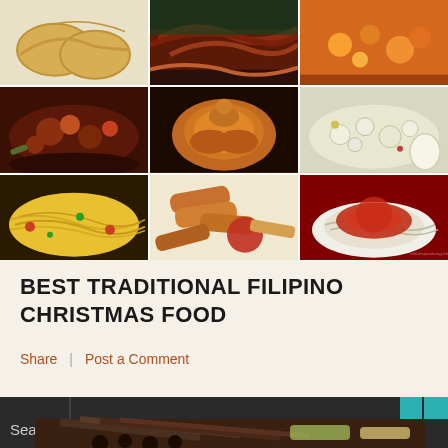[Figure (photo): 3x3 grid collage of Filipino Christmas food photos: empanadas, grilled meat, orange stew (row 1); meat stew with vegetables, roasted whole chicken, creamy salad (row 2); pancit noodles, lumpia spring rolls, spaghetti with red sauce (row 3)]
BEST TRADITIONAL FILIPINO CHRISTMAS FOOD
Share   Post a Comment
[Figure (photo): Dark bar with Search label and partial photo of grilled meat skewers on banana leaves at the bottom of the page]